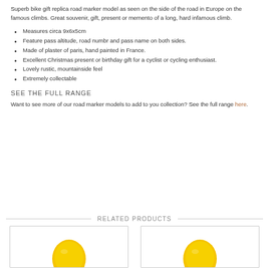Superb bike gift replica road marker model as seen on the side of the road in Europe on the famous climbs. Great souvenir, gift, present or memento of a long, hard infamous climb.
Measures circa 9x6x5cm
Feature pass altitude, road numbr and pass name on both sides.
Made of plaster of paris, hand painted in France.
Excellent Christmas present or birthday gift for a cyclist or cycling enthusiast.
Lovely rustic, mountainside feel
Extremely collectable
SEE THE FULL RANGE
Want to see more of our road marker models to add to you collection? See the full range here.
RELATED PRODUCTS
[Figure (photo): Product image showing yellow road marker model]
[Figure (photo): Product image showing yellow road marker model]